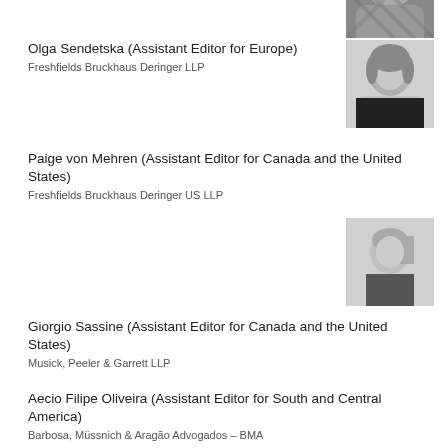[Figure (photo): Grayscale headshot photo at top right, partially visible]
Olga Sendetska (Assistant Editor for Europe)
Freshfields Bruckhaus Deringer LLP
[Figure (photo): Grayscale headshot of Olga Sendetska]
Paige von Mehren (Assistant Editor for Canada and the United States)
Freshfields Bruckhaus Deringer US LLP
[Figure (photo): Grayscale headshot of Paige von Mehren]
Giorgio Sassine (Assistant Editor for Canada and the United States)
Musick, Peeler & Garrett LLP
[Figure (photo): Grayscale headshot of Giorgio Sassine]
Aecio Filipe Oliveira (Assistant Editor for South and Central America)
Barbosa, Müssnich & Aragão Advogados – BMA
[Figure (photo): Grayscale headshot of Aecio Filipe Oliveira]